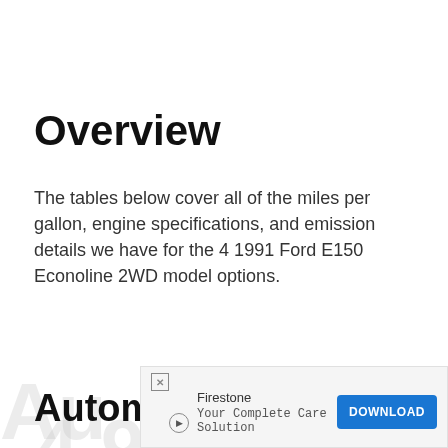Overview
The tables below cover all of the miles per gallon, engine specifications, and emission details we have for the 4 1991 Ford E150 Econoline 2WD model options.
Automatic 3-spd 6-cyl